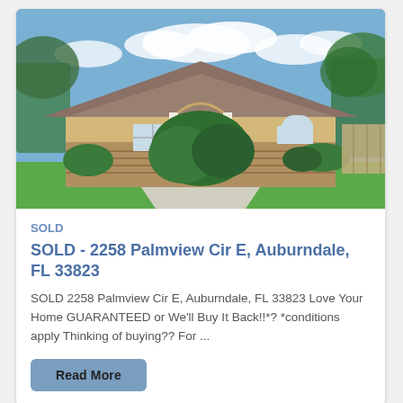[Figure (photo): Exterior photo of a single-story Florida home with tan stucco and stone facade, large shrubs in front, wide concrete driveway, green lawn, blue sky with clouds, and mature trees in background.]
SOLD
SOLD - 2258 Palmview Cir E, Auburndale, FL 33823
SOLD 2258 Palmview Cir E, Auburndale, FL 33823 Love Your Home GUARANTEED or We'll Buy It Back!!*? *conditions apply Thinking of buying?? For ...
Read More